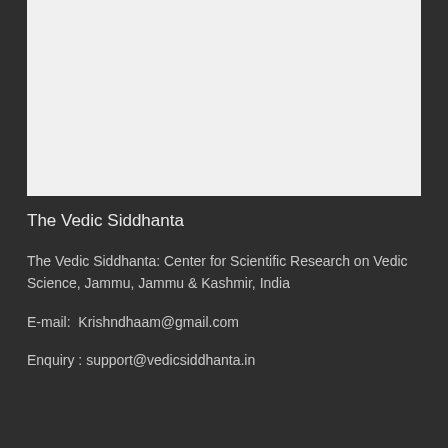[Figure (other): Light gray rectangular image placeholder at the top of the page]
The Vedic Siddhanta
The Vedic Siddhanta: Center for Scientific Research on Vedic Science, Jammu, Jammu & Kashmir, India
E-mail:  Krishndhaam@gmail.com
Enquiry : support@vedicsiddhanta.in